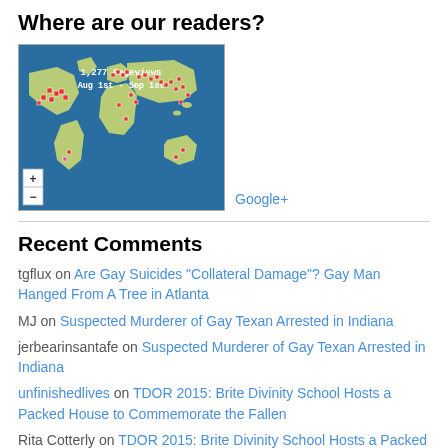Where are our readers?
[Figure (map): World map showing reader locations with red markers. Header text: 1,277 Pageviews, Aug 1st - Sep 1st. Zoom controls (+/-) in lower left. Google+ link to the right.]
Recent Comments
tgflux on Are Gay Suicides “Collateral Damage”? Gay Man Hanged From A Tree in Atlanta
MJ on Suspected Murderer of Gay Texan Arrested in Indiana
jerbearinsantafe on Suspected Murderer of Gay Texan Arrested in Indiana
unfinishedlives on TDOR 2015: Brite Divinity School Hosts a Packed House to Commemorate the Fallen
Rita Cotterly on TDOR 2015: Brite Divinity School Hosts a Packed House to Commemorate the Fallen